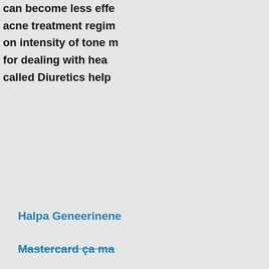can become less effe acne treatment regim on intensity of tone m for dealing with hea called Diuretics help
Halpa Geneerinene
Mastercard ça ma
Where To Order Ch
Buy Cheap Generic
Where Can I Get Ra
Price For Medicatio
Altace 2.5mg no rx n
Buy Cheap Generic
Safe Website To Buy
Looking for Ramipr
Buy Now Ramipril v